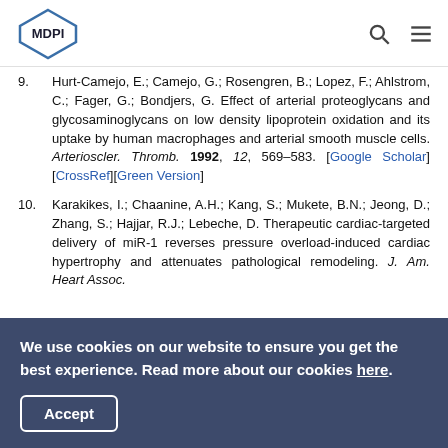MDPI
9. Hurt-Camejo, E.; Camejo, G.; Rosengren, B.; Lopez, F.; Ahlstrom, C.; Fager, G.; Bondjers, G. Effect of arterial proteoglycans and glycosaminoglycans on low density lipoprotein oxidation and its uptake by human macrophages and arterial smooth muscle cells. Arterioscler. Thromb. 1992, 12, 569–583. [Google Scholar] [CrossRef][Green Version]
10. Karakikes, I.; Chaanine, A.H.; Kang, S.; Mukete, B.N.; Jeong, D.; Zhang, S.; Hajjar, R.J.; Lebeche, D. Therapeutic cardiac-targeted delivery of miR-1 reverses pressure overload-induced cardiac hypertrophy and attenuates pathological remodeling. J. Am. Heart Assoc.
We use cookies on our website to ensure you get the best experience. Read more about our cookies here.
Accept